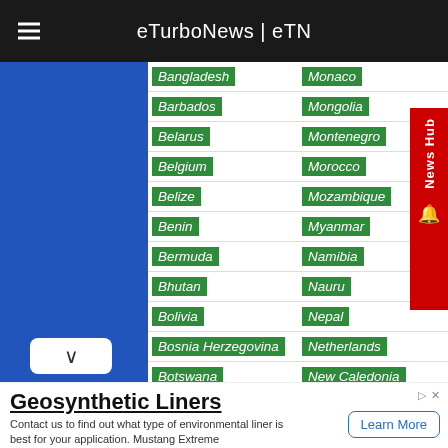eTurboNews | eTN
| Country (left) | Country (right) |
| --- | --- |
| Bangladesh | Monaco |
| Barbados | Mongolia |
| Belarus | Montenegro |
| Belgium | Morocco |
| Belize | Mozambique |
| Benin | Myanmar |
| Bermuda | Namibia |
| Bhutan | Nauru |
| Bolivia | Nepal |
| Bosnia Herzegovina | Netherlands |
| Botswana | New Caledonia |
| Brazil | New Zealand |
| British Virgin Islands | Nicaragua |
Geosynthetic Liners
Contact us to find out what type of environmental liner is best for your application. Mustang Extreme